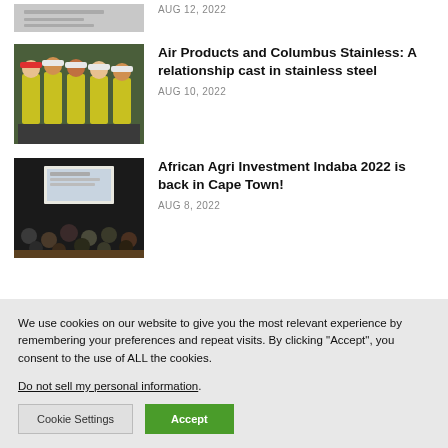AUG 12, 2022
[Figure (photo): Partial image at top of page — documents or papers visible]
[Figure (photo): Group of workers in yellow safety vests and hard hats standing together outdoors near industrial equipment]
Air Products and Columbus Stainless: A relationship cast in stainless steel
AUG 10, 2022
[Figure (photo): Audience seated at a conference or seminar, viewed from behind, with a presentation screen at the front]
African Agri Investment Indaba 2022 is back in Cape Town!
AUG 8, 2022
We use cookies on our website to give you the most relevant experience by remembering your preferences and repeat visits. By clicking "Accept", you consent to the use of ALL the cookies.
Do not sell my personal information.